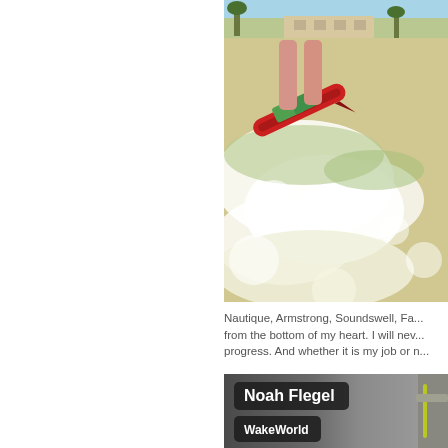[Figure (photo): Action sports wakeboarding photo showing a rider on a red board with water spray, palm trees and buildings visible in background, shot from close behind/below the board]
Nautique, Armstrong, Soundswell, Fa... from the bottom of my heart. I will nev... progress. And whether it is my job or n...
[Figure (photo): Lower portion showing a person with name badge overlay: Noah Flegel, WakeWorld]
Noah Flegel
WakeWorld